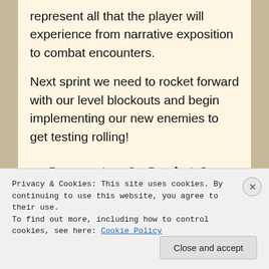represent all that the player will experience from narrative exposition to combat encounters.
Next sprint we need to rocket forward with our level blockouts and begin implementing our new enemies to get testing rolling!
Semester 2, Sprint 3 – Documents Part Two
Privacy & Cookies: This site uses cookies. By continuing to use this website, you agree to their use.
To find out more, including how to control cookies, see here: Cookie Policy